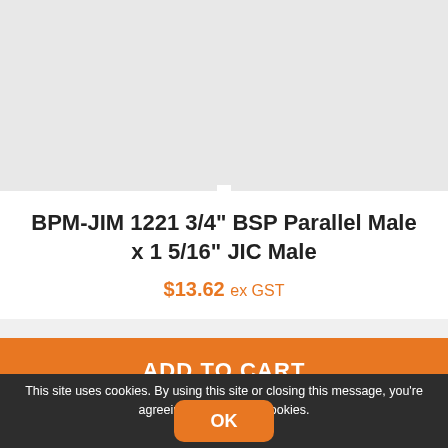[Figure (photo): Light grey product image placeholder area]
BPM-JIM 1221 3/4" BSP Parallel Male x 1 5/16" JIC Male
$13.62 ex GST
ADD TO CART
This site uses cookies. By using this site or closing this message, you're agreeing to our use of cookies.
OK